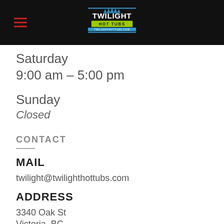[Figure (logo): Twilight Hot Tubs logo on black header bar with hamburger menu icon on the left]
Saturday
9:00 am – 5:00 pm
Sunday
Closed
CONTACT
MAIL
twilight@twilighthottubs.com
ADDRESS
3340 Oak St
Victoria, BC
V8V 1B1